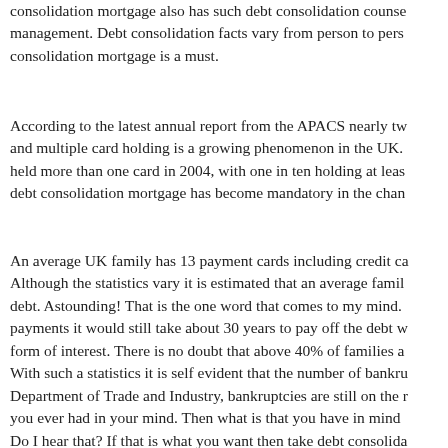consolidation mortgage also has such debt consolidation counsel management. Debt consolidation facts vary from person to person, consolidation mortgage is a must.
According to the latest annual report from the APACS nearly two and multiple card holding is a growing phenomenon in the UK. held more than one card in 2004, with one in ten holding at least debt consolidation mortgage has become mandatory in the changing
An average UK family has 13 payment cards including credit cards. Although the statistics vary it is estimated that an average family debt. Astounding! That is the one word that comes to my mind. payments it would still take about 30 years to pay off the debt with form of interest. There is no doubt that above 40% of families are With such a statistics it is self evident that the number of bankruptcies Department of Trade and Industry, bankruptcies are still on the rise. you ever had in your mind. Then what is that you have in mind? Do I hear that? If that is what you want then take debt consolidation